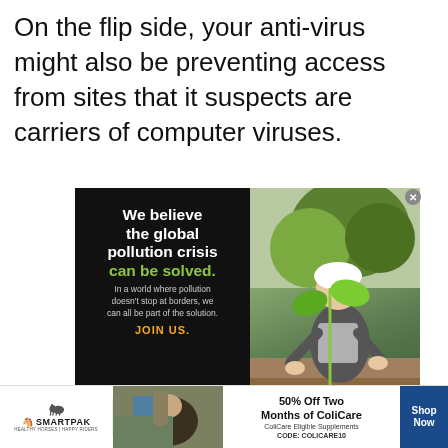On the flip side, your anti-virus might also be preventing access from sites that it suspects are carriers of computer viruses.
[Figure (illustration): Pure Earth advertisement. Black left panel with white bold text 'We believe the global pollution crisis can be solved.' (solved in green), subtext 'In a world where pollution doesn't stop at borders, we can all be part of the solution.', orange 'JOIN US.' text, and Pure Earth logo with diamond icon. Right panel shows photo of man in white hard hat planting a seedling.]
[Figure (illustration): SmartPak advertisement banner. Shows SmartPak logo with horse icon on left, photo of horse and rider in center-left, '50% Off Two Months of ColiCare, ColiCare Eligible Supplements, CODE: COLICARE10' text in center, and blue 'Shop Now' button on right. Has X close button.]